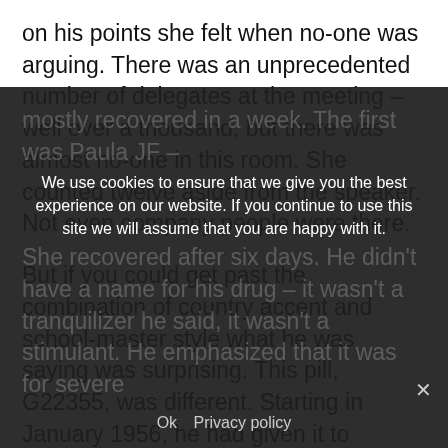on his points she felt when no-one was arguing. There was an unprecedented number of delegates at the meeting – well over a thousand, but there was almost no-one in this room. She counted twelve aside from the speaker. Not even company people were there.
But if you could get past the combination of country accent and school-master style what he was saying was surprising. This pill, G22355, was different. Starting in January 1956, he had given it to agitated and psychotically depressed patients, the kind that nothing else except Shock Treatment touched. They mostly recovered in a week. The first was Paula JF – ... She recovered after six days. He didn't have a name for his drug – it wasn't a tranquilizer he said, it wasn't a stimulant. He emphasized that it was for severe
We use cookies to ensure that we give you the best experience on our website. If you continue to use this site we will assume that you are happy with it.